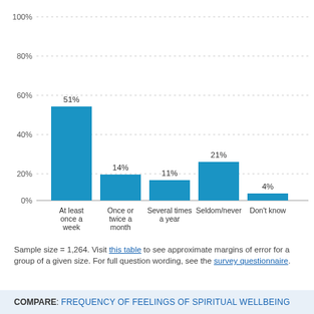[Figure (bar-chart): ]
Sample size = 1,264. Visit this table to see approximate margins of error for a group of a given size. For full question wording, see the survey questionnaire.
COMPARE: FREQUENCY OF FEELINGS OF SPIRITUAL WELLBEING